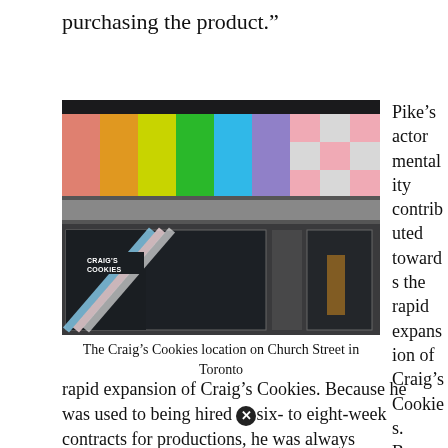purchasing the product.”
[Figure (photo): Exterior of Craig’s Cookies location on Church Street in Toronto, showing colorful rainbow and transgender pride flag color bars across the upper windows, and the storefront with Craig’s Cookies sign.]
The Craig’s Cookies location on Church Street in Toronto
Pike’s actor mentality contributed towards the rapid expansion of Craig’s Cookies. Because he was used to being hired six- to eight-week contracts for productions, he was always